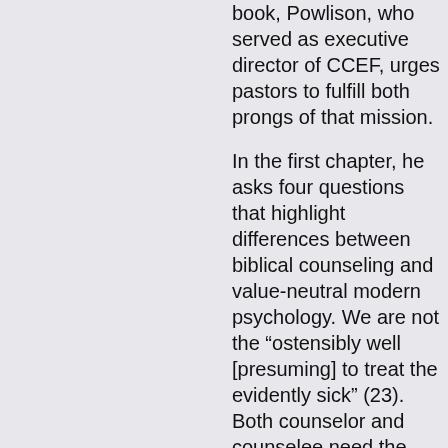book, Powlison, who served as executive director of CCEF, urges pastors to fulfill both prongs of that mission.
In the first chapter, he asks four questions that highlight differences between biblical counseling and value-neutral modern psychology. We are not the “ostensibly well [presuming] to treat the evidently sick” (23). Both counselor and counselee need the shepherd’s voice to quiet the persuasive inner whispers of either despair or self-sufficiency.
The second chapter